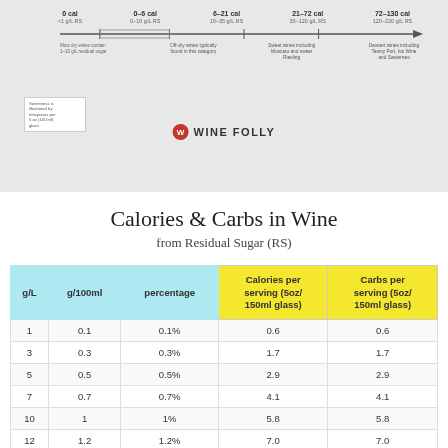[Figure (infographic): Wine Folly infographic showing a horizontal timeline/number line with calorie ranges for wine: 0 cal, 0-6 cal, 6-21 cal, 21-72 cal, 72-130 cal, with sub-labels for g/L RS values and descriptions of wine types (dry, off-dry, sweet, dessert). A note box and the Wine Folly logo appear below.]
Calories & Carbs in Wine
from Residual Sugar (RS)
| g/L | g/100ml | percentage | Calories per serving (5oz/ 150ml glass) | Carbs per serving (5oz/ 150ml glass) |
| --- | --- | --- | --- | --- |
| 1 | 0.1 | 0.1% | 0.6 | 0.6 |
| 3 | 0.3 | 0.3% | 1.7 | 1.7 |
| 5 | 0.5 | 0.5% | 2.9 | 2.9 |
| 7 | 0.7 | 0.7% | 4.1 | 4.1 |
| 10 | 1 | 1% | 5.8 | 5.8 |
| 12 | 1.2 | 1.2% | 7.0 | 7.0 |
| 15 | 1.5 | 1.5% | 8.7 | 8.7 |
| 17 | 1.7 | 1.7% | 9.9 | 9.9 |